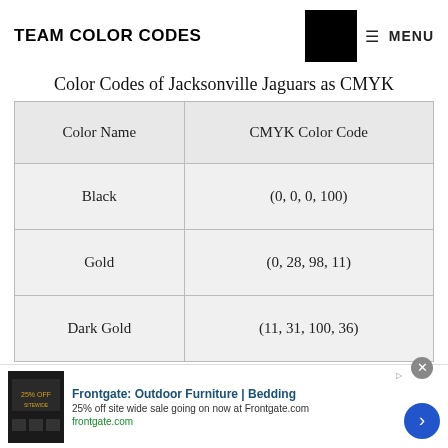TEAM COLOR CODES
Color Codes of Jacksonville Jaguars as CMYK
| Color Name | CMYK Color Code |
| --- | --- |
| Black | (0, 0, 0, 100) |
| Gold | (0, 28, 98, 11) |
| Dark Gold | (11, 31, 100, 36) |
[Figure (screenshot): Advertisement banner for Frontgate: Outdoor Furniture and Bedding. Shows 25% off site wide sale going on now at Frontgate.com. frontgate.com URL shown.]